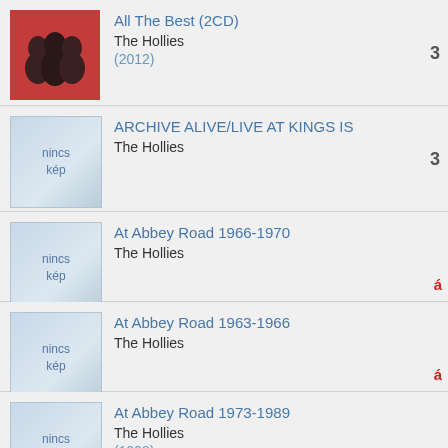All The Best (2CD) | The Hollies | (2012)
ARCHIVE ALIVE/LIVE AT KINGS IS | The Hollies
At Abbey Road 1966-1970 | The Hollies
At Abbey Road 1963-1966 | The Hollies
At Abbey Road 1973-1989 | The Hollies | (1998)